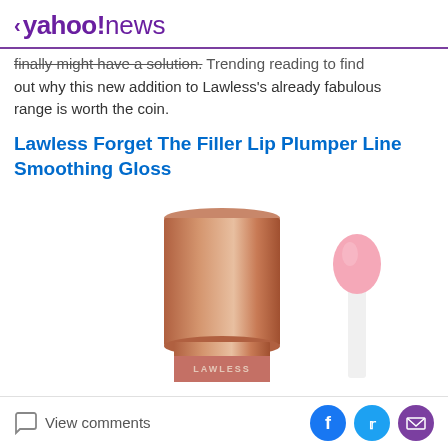< yahoo!news
finally might have a solution. Trending reading to find out why this new addition to Lawless's already fabulous range is worth the coin.
Lawless Forget The Filler Lip Plumper Line Smoothing Gloss
[Figure (photo): Product photo of Lawless Forget The Filler Lip Plumper Line Smoothing Gloss — a rose gold cylindrical tube cap on the left, and a pink doe-foot applicator wand on the right against a white background. The word LAWLESS is partially visible on the tube body at bottom.]
View comments